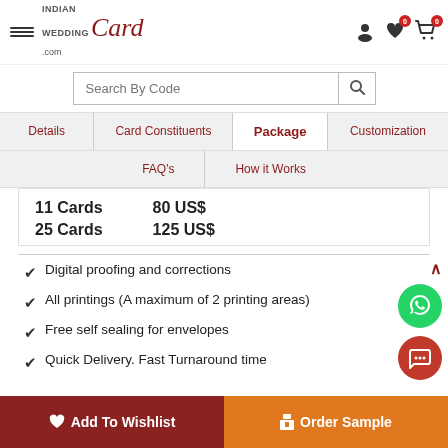Indian Wedding Card .com
Search By Code
Details | Card Constituents | Package | Customization | FAQ's | How it Works
11 Cards   80 US$
25 Cards   125 US$
Digital proofing and corrections
All printings (A maximum of 2 printing areas)
Free self sealing for envelopes
Quick Delivery. Fast Turnaround time
Add To Wishlist   Order Sample